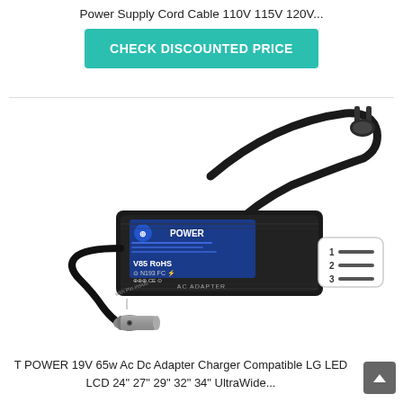Power Supply Cord Cable 110V 115V 120V...
CHECK DISCOUNTED PRICE
[Figure (photo): T POWER AC adapter/charger product photo showing a black rectangular AC adapter brick with blue POWER label, attached power cord with US 3-prong plug, and a barrel connector tip with 'with Pin inside' label.]
T POWER 19V 65w Ac Dc Adapter Charger Compatible LG LED LCD 24" 27" 29" 32" 34" UltraWide...